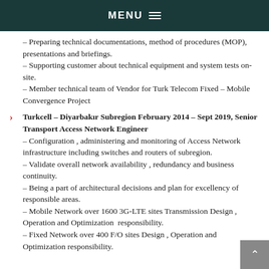MENU
– Preparing technical documentations, method of procedures (MOP), presentations and briefings.
– Supporting customer about technical equipment and system tests on-site.
– Member technical team of Vendor for Turk Telecom Fixed – Mobile Convergence Project
Turkcell – Diyarbakır Subregion February 2014 – Sept 2019, Senior Transport Access Network Engineer
– Configuration , administering and monitoring of Access Network infrastructure including switches and routers of subregion.
– Validate overall network availability , redundancy and business continuity.
– Being a part of architectural decisions and plan for excellency of responsible areas.
– Mobile Network over 1600 3G-LTE sites Transmission Design , Operation and Optimization  responsibility.
– Fixed Network over 400 F/O sites Design , Operation and Optimization responsibility.